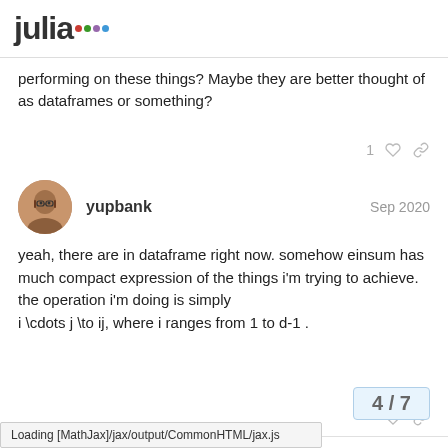julia
performing on these things? Maybe they are better thought of as dataframes or something?
yupbank    Sep 2020
yeah, there are in dataframe right now. somehow einsum has much compact expression of the things i'm trying to achieve. the operation i'm doing is simply
i \cdots j \to ij, where i ranges from 1 to d-1 .
mcabbott    1    Sep 2020
4 / 7
Loading [MathJax]/jax/output/CommonHTML/jax.js